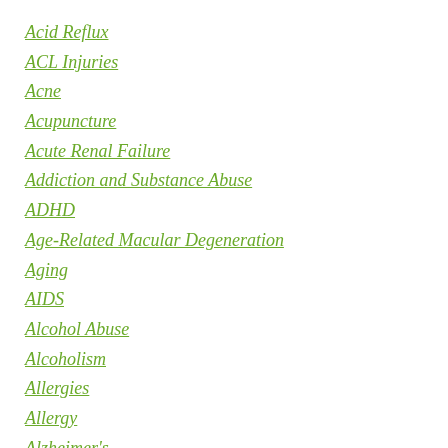Acid Reflux
ACL Injuries
Acne
Acupuncture
Acute Renal Failure
Addiction and Substance Abuse
ADHD
Age-Related Macular Degeneration
Aging
AIDS
Alcohol Abuse
Alcoholism
Allergies
Allergy
Alzheimer's
Amoxicillin Antibiotic
Anemia
Angina